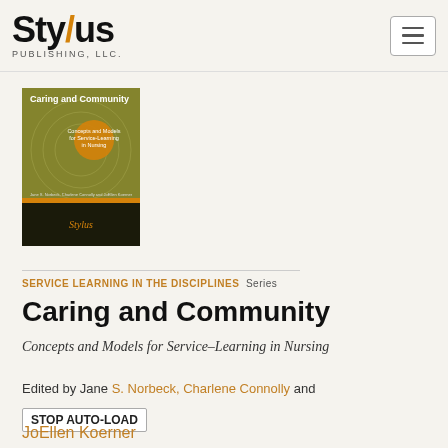Stylus Publishing, LLC.
[Figure (photo): Book cover of 'Caring and Community: Concepts and Models for Service-Learning in Nursing', olive/yellow-green cover with Stylus publisher logo]
SERVICE LEARNING IN THE DISCIPLINES  Series
Caring and Community
Concepts and Models for Service–Learning in Nursing
Edited by Jane S. Norbeck, Charlene Connolly and JoEllen Koerner